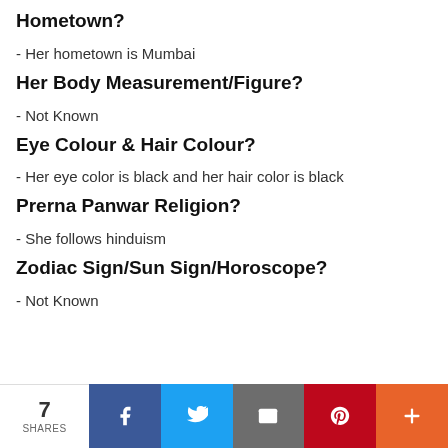Hometown?
- Her hometown is Mumbai
Her Body Measurement/Figure?
- Not Known
Eye Colour & Hair Colour?
- Her eye color is black and her hair color is black
Prerna Panwar Religion?
- She follows hinduism
Zodiac Sign/Sun Sign/Horoscope?
- Not Known
7 SHARES | Facebook | Twitter | Email | Pinterest | More